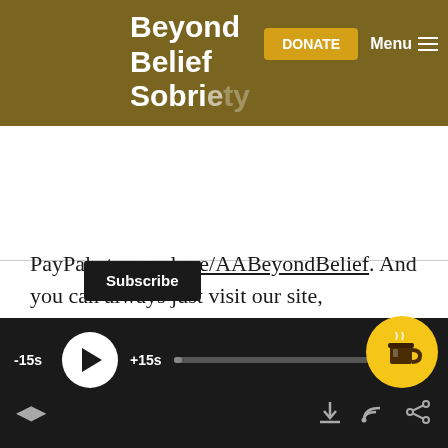Beyond Belief Sobriety — DONATE | Menu
Subscribe
PayPal at paypal.me/AABeyondBelief. And you can always just visit our site, AABeyondBelief.org and click on the donate button. Thanks again for listening, we'll be back again real soon with another episode of AA Beyond Belief.
[Figure (screenshot): Podcast audio player bar with -15s skip back, play button, +15s skip forward, progress bar, and bottom controls including previous, next, download, and cast icons. A yellow coffee/tip circular button overlays the bottom right.]